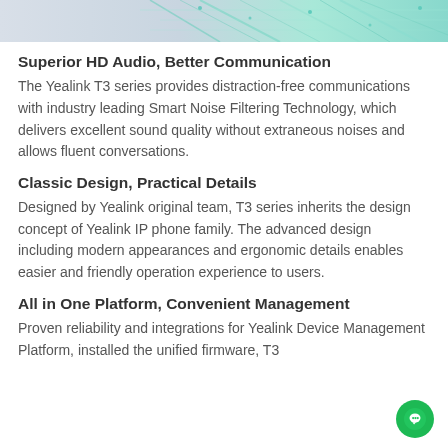[Figure (illustration): Abstract technology background image with teal/cyan circuit-like pattern on a light gray background, cropped at the top of the page.]
Superior HD Audio, Better Communication
The Yealink T3 series provides distraction-free communications with industry leading Smart Noise Filtering Technology, which delivers excellent sound quality without extraneous noises and allows fluent conversations.
Classic Design, Practical Details
Designed by Yealink original team, T3 series inherits the design concept of Yealink IP phone family. The advanced design including modern appearances and ergonomic details enables easier and friendly operation experience to users.
All in One Platform, Convenient Management
Proven reliability and integrations for Yealink Device Management Platform, installed the unified firmware, T3